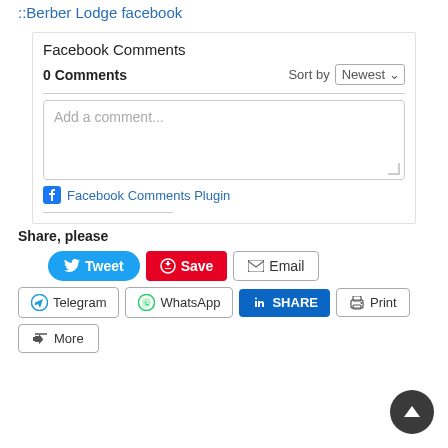::Berber Lodge facebook
Facebook Comments
0 Comments    Sort by Newest
Add a comment...
Facebook Comments Plugin
Share, please
Tweet  Save  Email
Telegram  WhatsApp  SHARE  Print
More